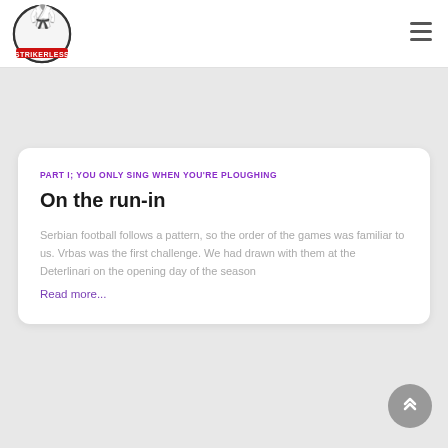Strikerless logo and hamburger menu
PART I; YOU ONLY SING WHEN YOU'RE PLOUGHING
On the run-in
Serbian football follows a pattern, so the order of the games was familiar to us. Vrbas was the first challenge. We had drawn with them at the Deterlinari on the opening day of the season
Read more...